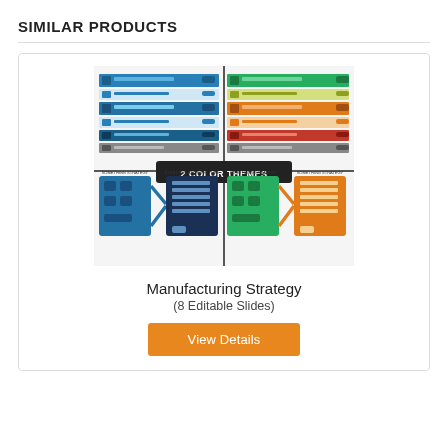SIMILAR PRODUCTS
[Figure (screenshot): Preview of Manufacturing Strategy PowerPoint slides showing 2 color themes — top row shows blue-themed and green/orange/red-themed strategy slides with horizontal bars, bottom row shows blue and green/orange flowchart slides. A dark overlay badge reads '2 COLOR THEMES'.]
Manufacturing Strategy
(8 Editable Slides)